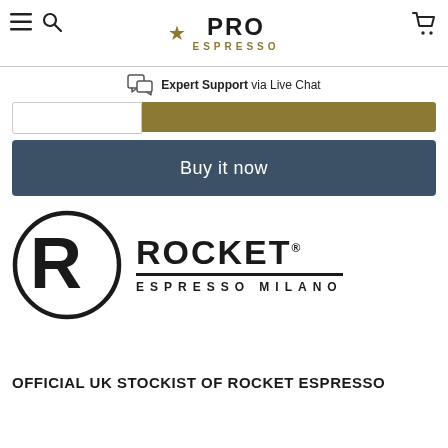PRO ESPRESSO
Expert Support via Live Chat
Buy it now
[Figure (logo): Rocket Espresso Milano logo — circular R emblem with ROCKET ESPRESSO MILANO wordmark]
OFFICIAL UK STOCKIST OF ROCKET ESPRESSO